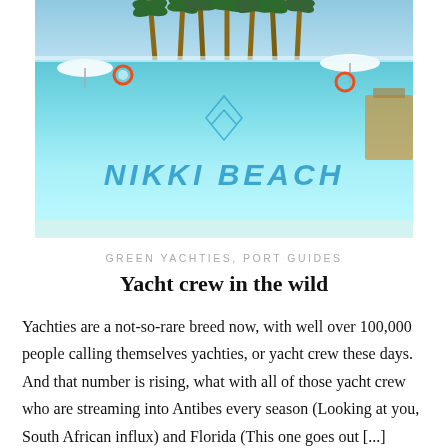[Figure (photo): Aerial/ground-level view of Nikki Beach pool club with 'NIKKI BEACH' written on the pool floor in blue lettering, palm trees in background, white umbrellas, clear blue sky]
GREEN YACHTIES, PORT GUIDES
Yacht crew in the wild
Yachties are a not-so-rare breed now, with well over 100,000 people calling themselves yachties, or yacht crew these days. And that number is rising, what with all of those yacht crew who are streaming into Antibes every season (Looking at you, South African influx) and Florida (This one goes out [...]